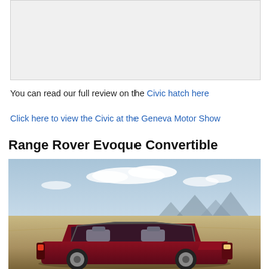[Figure (other): Gray placeholder/advertisement box]
You can read our full review on the Civic hatch here
Click here to view the Civic at the Geneva Motor Show
Range Rover Evoque Convertible
[Figure (photo): Range Rover Evoque Convertible driving in desert landscape with blue sky and mountains in background]